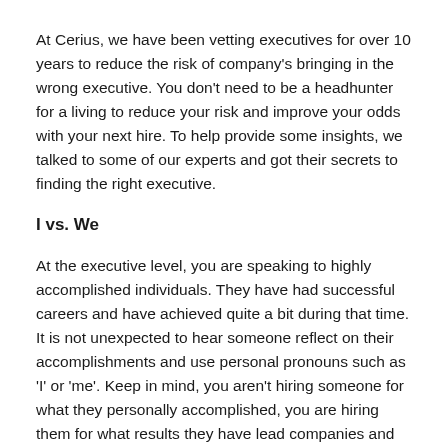At Cerius, we have been vetting executives for over 10 years to reduce the risk of company's bringing in the wrong executive. You don't need to be a headhunter for a living to reduce your risk and improve your odds with your next hire. To help provide some insights, we talked to some of our experts and got their secrets to finding the right executive.
I vs. We
At the executive level, you are speaking to highly accomplished individuals. They have had successful careers and have achieved quite a bit during that time. It is not unexpected to hear someone reflect on their accomplishments and use personal pronouns such as 'I' or 'me'. Keep in mind, you aren't hiring someone for what they personally accomplished, you are hiring them for what results they have lead companies and teams to accomplish. A company is rarely looking for someone who